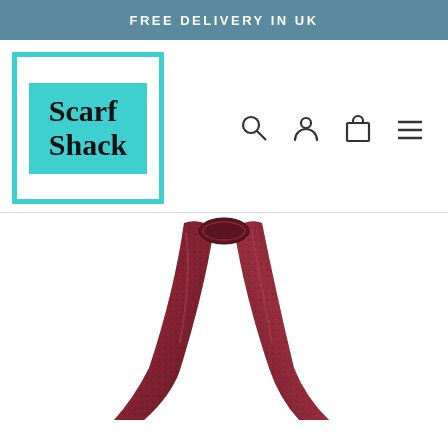FREE DELIVERY IN UK
[Figure (logo): Scarf Shack logo — teal square border with teal banner and bold serif text 'Scarf Shack']
[Figure (illustration): Navigation icons: search magnifier, user profile, shopping bag, hamburger menu]
[Figure (photo): Product photo of a dark red/burgundy textured scarf draped in a V shape against white background]